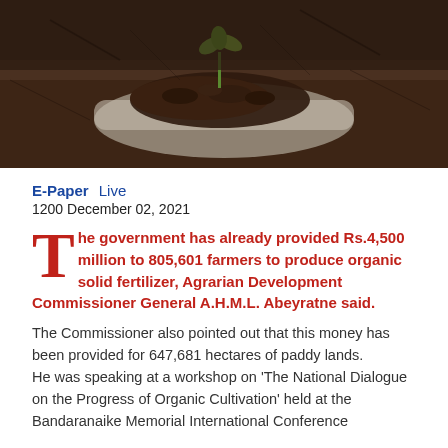[Figure (photo): Close-up photo of a small green seedling sprouting from dark soil on a metallic garden trowel/spoon, with blurred soil background]
E-Paper  Live
1200 December 02, 2021
The government has already provided Rs.4,500 million to 805,601 farmers to produce organic solid fertilizer, Agrarian Development Commissioner General A.H.M.L. Abeyratne said.
The Commissioner also pointed out that this money has been provided for 647,681 hectares of paddy lands. He was speaking at a workshop on 'The National Dialogue on the Progress of Organic Cultivation' held at the Bandaranaike Memorial International Conference